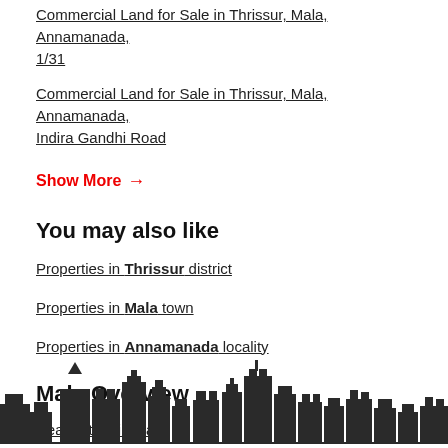Commercial Land for Sale in Thrissur, Mala, Annamanada, 1/31
Commercial Land for Sale in Thrissur, Mala, Annamanada, Indira Gandhi Road
Show More →
You may also like
Properties in Thrissur district
Properties in Mala town
Properties in Annamanada locality
Mala Overview
Real Estate in Mala
[Figure (illustration): City skyline silhouette in dark grey/black at the bottom of the page]